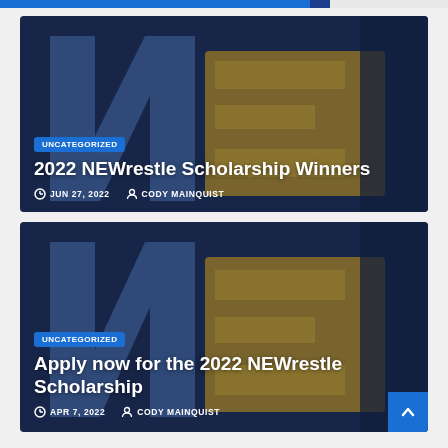[Figure (photo): NEWrestle logo background image with blue and gold N and E letters, dark overlay. Category badge: UNCATEGORIZED. Title: 2022 NEWrestle Scholarship Winners. Date: JUN 27, 2022. Author: CODY MAINQUIST.]
[Figure (photo): NEWrestle logo background image with blue and gold N and E letters, dark overlay. Category badge: UNCATEGORIZED. Title: Apply now for the 2022 NEWrestle Scholarship. Date: APR 7, 2022. Author: CODY MAINQUIST.]